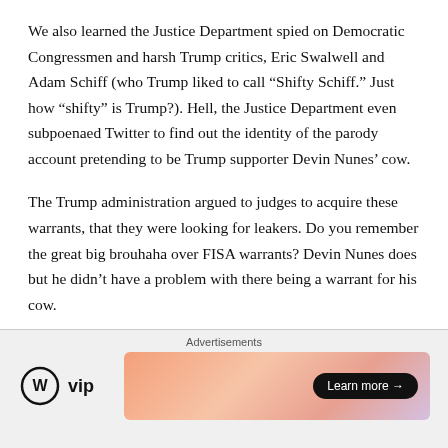We also learned the Justice Department spied on Democratic Congressmen and harsh Trump critics, Eric Swalwell and Adam Schiff (who Trump liked to call “Shifty Schiff.” Just how “shifty” is Trump?). Hell, the Justice Department even subpoenaed Twitter to find out the identity of the parody account pretending to be Trump supporter Devin Nunes’ cow.
The Trump administration argued to judges to acquire these warrants, that they were looking for leakers. Do you remember the great big brouhaha over FISA warrants? Devin Nunes does but he didn’t have a problem with there being a warrant for his cow.
[Figure (other): Advertisement bar at the bottom with WordPress VIP logo on the left and a colorful gradient banner ad with a 'Learn more →' button on the right. An X close button appears in the upper right of the ad area.]